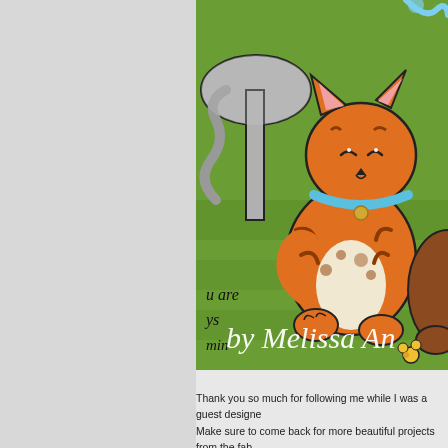[Figure (illustration): A colorful illustrated scene showing cute cartoon cats on a green grass background. An orange tabby kitten with a blue collar and gold bell sits in the center, smiling with closed eyes. Partially visible brown cat on the right, and gray cat elements on the upper left. Text on the image reads 'you are always min' in cursive script and 'by Melissa An' in white italic serif font overlaid at the bottom.]
Thank you so much for following me while I was a guest designe Make sure to come back for more beautiful projects from the fab